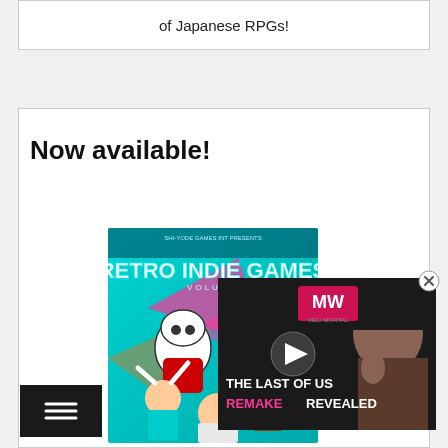of Japanese RPGs!
Now available!
[Figure (illustration): Cover art for 'Retro Indie Games' magazine/book showing cartoon characters including Cuphead-style characters, a girl in teal outfit, and other retro game characters on a colorful background]
[Figure (screenshot): Video overlay showing 'THE LAST OF US REMAKE REVEALED' with MW (Meli Mortal) logo, play button, and a young woman's face on dark background]
[Figure (other): Close button (X circle) for the video overlay]
[Figure (other): Hamburger menu button (black square with three lines)]